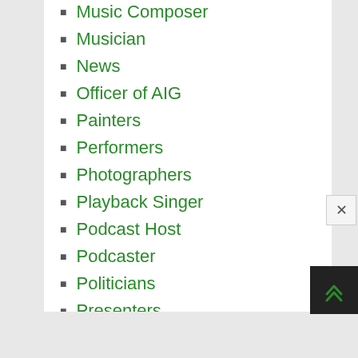Music Composer
Musician
News
Officer of AIG
Painters
Performers
Photographers
Playback Singer
Podcast Host
Podcaster
Politicians
Presenters